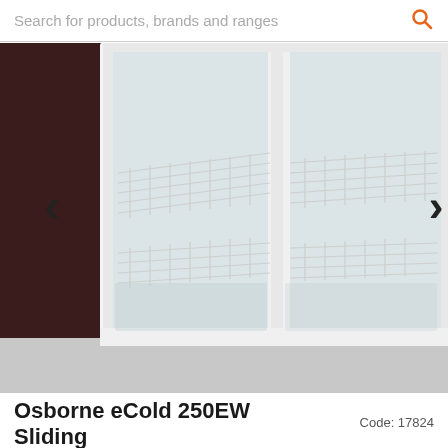Search for products, brands and ranges
[Figure (photo): Close-up photo of an Osborne eCold 250EW sliding door under-counter refrigerator with two glass sliding doors open, showing white wire shelving inside. The cabinet exterior is dark brown/black. Navigation arrows are visible on the left and right sides of the image.]
Osborne eCold 250EW Sliding
Code: 17824